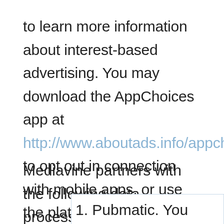to learn more information about interest-based advertising. You may download the AppChoices app at http://www.aboutads.info/appchoices to opt out in connection with mobile apps, or use the platform controls on your mobile device to opt out.
Mediavine partners with the following data processors:
1. Pubmatic. You may find